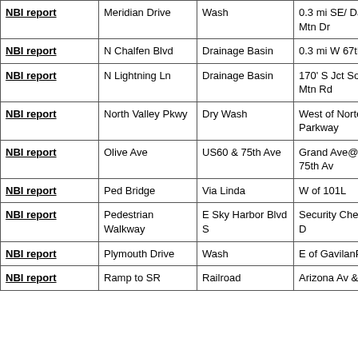| NBI report | Meridian Drive | Wash | 0.3 mi SE/ Daisy Mtn Dr |
| NBI report | N Chalfen Blvd | Drainage Basin | 0.3 mi W 67th Ave |
| NBI report | N Lightning Ln | Drainage Basin | 170' S Jct Sonoran Mtn Rd |
| NBI report | North Valley Pkwy | Dry Wash | West of Norterra Parkway |
| NBI report | Olive Ave | US60 & 75th Ave | Grand Ave@ Olive/ 75th Av |
| NBI report | Ped Bridge | Via Linda | W of 101L |
| NBI report | Pedestrian Walkway | E Sky Harbor Blvd S | Security Checkpoint D |
| NBI report | Plymouth Drive | Wash | E of GavilanPkPkwy |
| NBI report | Ramp to SR | Railroad | Arizona Av & L202 |